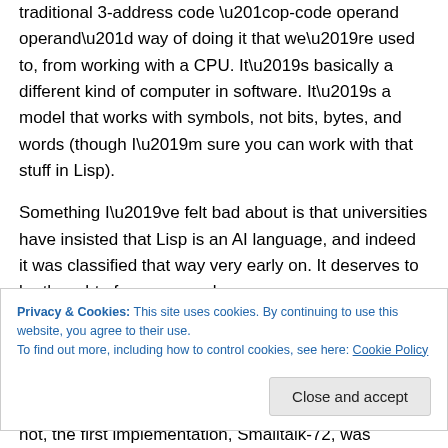traditional 3-address code “op-code operand operand” way of doing it that we’re used to, from working with a CPU. It’s basically a different kind of computer in software. It’s a model that works with symbols, not bits, bytes, and words (though I’m sure you can work with that stuff in Lisp).
Something I’ve felt bad about is that universities have insisted that Lisp is an AI language, and indeed it was classified that way very early on. It deserves to be thought of as a general-purpose
Privacy & Cookies: This site uses cookies. By continuing to use this website, you agree to their use.
To find out more, including how to control cookies, see here: Cookie Policy
not, the first implementation, Smalltalk-72, was